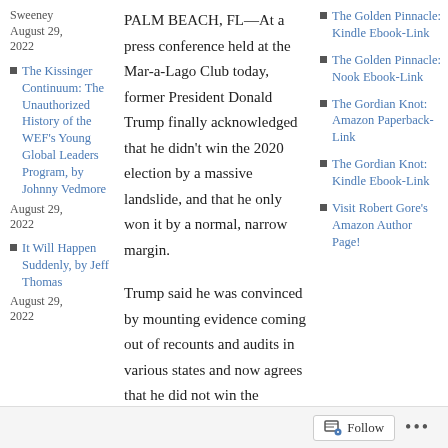Sweeney
August 29, 2022
The Kissinger Continuum: The Unauthorized History of the WEF's Young Global Leaders Program, by Johnny Vedmore
August 29, 2022
It Will Happen Suddenly, by Jeff Thomas
August 29, 2022
PALM BEACH, FL—At a press conference held at the Mar-a-Lago Club today, former President Donald Trump finally acknowledged that he didn't win the 2020 election by a massive landslide, and that he only won it by a normal, narrow margin.
Trump said he was convinced by mounting evidence coming out of recounts and audits in various states and now agrees that he did not win the election by 10 million votes, but “probably more like 2 or 3 million” overall.
“After reviewing all the evidence...
The Golden Pinnacle: Kindle Ebook-Link
The Golden Pinnacle: Nook Ebook-Link
The Gordian Knot: Amazon Paperback-Link
The Gordian Knot: Kindle Ebook-Link
Visit Robert Gore's Amazon Author Page!
Follow ...